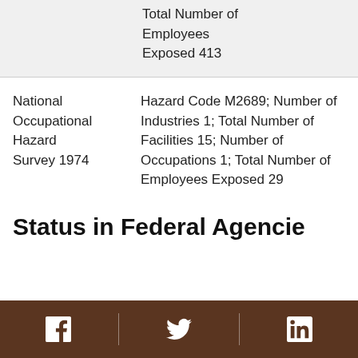Total Number of Employees Exposed 413
| Source | Details |
| --- | --- |
| National Occupational Hazard Survey 1974 | Hazard Code M2689; Number of Industries 1; Total Number of Facilities 15; Number of Occupations 1; Total Number of Employees Exposed 29 |
Status in Federal Agencies
Facebook | Twitter | LinkedIn